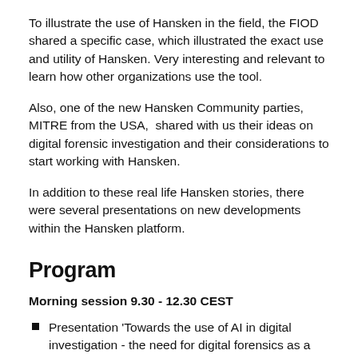To illustrate the use of Hansken in the field, the FIOD shared a specific case, which illustrated the exact use and utility of Hansken. Very interesting and relevant to learn how other organizations use the tool.
Also, one of the new Hansken Community parties, MITRE from the USA,  shared with us their ideas on digital forensic investigation and their considerations to start working with Hansken.
In addition to these real life Hansken stories, there were several presentations on new developments within the Hansken platform.
Program
Morning session 9.30 - 12.30 CEST
Presentation 'Towards the use of AI in digital investigation - the need for digital forensics as a service as an enabler for intelligent assistance and collaboration in digital